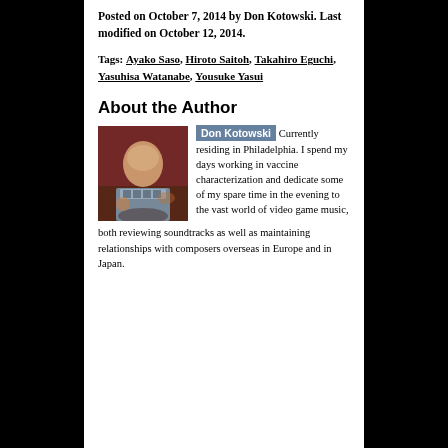Posted on October 7, 2014 by Don Kotowski. Last modified on October 12, 2014.
Tags: Ayako Saso, Hiroto Saitoh, Takahiro Eguchi, Yasuhisa Watanabe, Yousuke Yasui
About the Author
[Figure (photo): Photo of Don Kotowski, a man seated at a restaurant or bar setting]
Don Kotowski Currently residing in Philadelphia. I spend my days working in vaccine characterization and dedicate some of my spare time in the evening to the vast world of video game music, both reviewing soundtracks as well as maintaining relationships with composers overseas in Europe and in Japan.